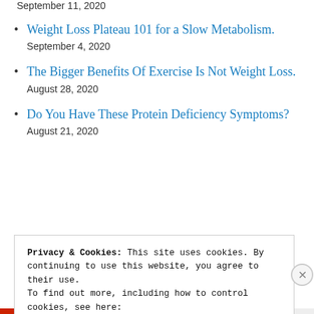September 11, 2020
Weight Loss Plateau 101 for a Slow Metabolism.
September 4, 2020
The Bigger Benefits Of Exercise Is Not Weight Loss.
August 28, 2020
Do You Have These Protein Deficiency Symptoms?
August 21, 2020
Privacy & Cookies: This site uses cookies. By continuing to use this website, you agree to their use.
To find out more, including how to control cookies, see here:
Cookie Policy

Close and accept